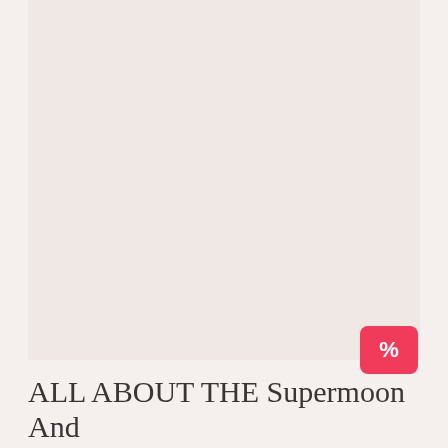[Figure (photo): Large light pinkish-beige rectangular image area, appears to be a blank or faded photograph placeholder with a warm off-white/blush tone.]
ALL ABOUT THE Supermoon And Mercury Retrograde